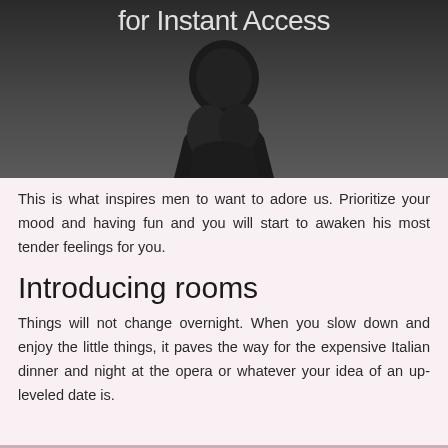[Figure (photo): Dark moody black and white photograph of a couple in an intimate pose, with text overlay reading 'for Instant Access' in light gray at the top]
This is what inspires men to want to adore us. Prioritize your mood and having fun and you will start to awaken his most tender feelings for you.
Introducing rooms
Things will not change overnight. When you slow down and enjoy the little things, it paves the way for the expensive Italian dinner and night at the opera or whatever your idea of an up-leveled date is.